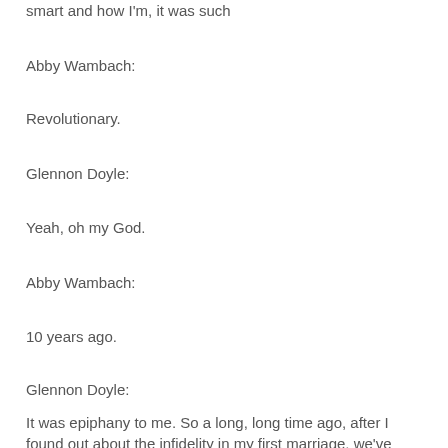smart and how I'm, it was such
Abby Wambach:
Revolutionary.
Glennon Doyle:
Yeah, oh my God.
Abby Wambach:
10 years ago.
Glennon Doyle:
It was epiphany to me. So a long, long time ago, after I found out about the infidelity in my first marriage, we've